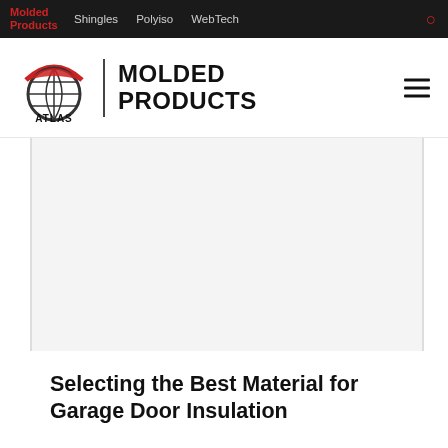Molded Products  Shingles  Polyiso  WebTech
[Figure (logo): Atlas Molded Products logo with globe icon and bold text 'MOLDED PRODUCTS']
[Figure (photo): Large image area (garage door insulation content image)]
Selecting the Best Material for Garage Door Insulation